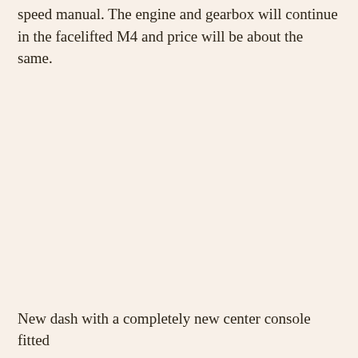speed manual. The engine and gearbox will continue in the facelifted M4 and price will be about the same.
New dash with a completely new center console fitted